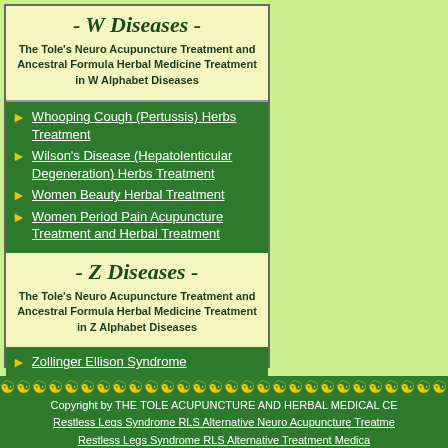- W Diseases -
The Tole's Neuro Acupuncture Treatment and Ancestral Formula Herbal Medicine Treatment in W Alphabet Diseases
Whooping Cough (Pertussis) Herbs Treatment
Wilson's Disease (Hepatolenticular Degeneration) Herbs Treatment
Women Beauty Herbal Treatment
Women Period Pain Acupuncture Treatment and Herbal Treatment
- Z Diseases -
The Tole's Neuro Acupuncture Treatment and Ancestral Formula Herbal Medicine Treatment in Z Alphabet Diseases
Zollinger Ellison Syndrome
Zoster
Copyright by THE TOLE ACUPUNCTURE AND HERBAL MEDICAL CE
Restless Legs Syndrome RLS Alternative Neuro Acupuncture Treatme
Restless Legs Syndrome RLS Alternative Treatment Medica